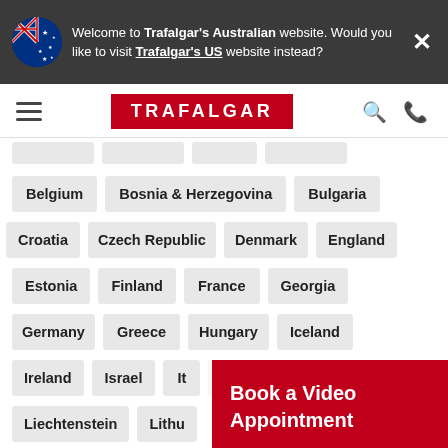Welcome to Trafalgar's Australian website. Would you like to visit Trafalgar's US website instead?
[Figure (screenshot): Trafalgar travel website screenshot showing navigation and European country destination buttons]
Belgium
Bosnia & Herzegovina
Bulgaria
Croatia
Czech Republic
Denmark
England
Estonia
Finland
France
Georgia
Germany
Greece
Hungary
Iceland
Ireland
Israel
It[aly - partially visible]
Liechtenstein
Lithu[ania - partially visible]
Book a Video Appointment